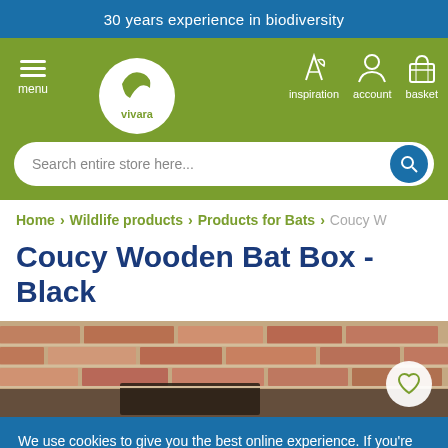30 years experience in biodiversity
[Figure (screenshot): Vivara website navigation bar with menu, logo, inspiration, account, basket icons and search bar on green background]
Home > Wildlife products > Products for Bats > Coucy W
Coucy Wooden Bat Box - Black
[Figure (photo): Product photo of wooden bat box mounted on a red brick wall]
We use cookies to give you the best online experience. If you're happy with the use of cookies by us and selected partners click Allow all cookies to continue.